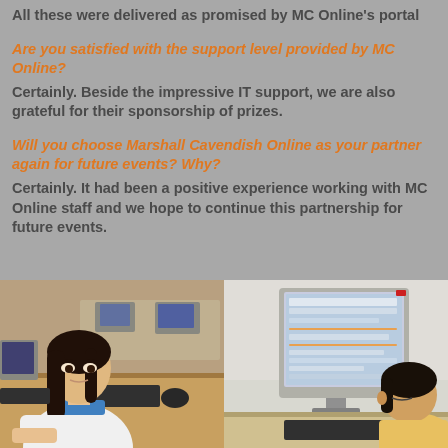All these were delivered as promised by MC Online's portal
Are you satisfied with the support level provided by MC Online?
Certainly. Beside the impressive IT support, we are also grateful for their sponsorship of prizes.
Will you choose Marshall Cavendish Online as your partner again for future events? Why?
Certainly. It had been a positive experience working with MC Online staff and we hope to continue this partnership for future events.
[Figure (photo): Two photographs side by side showing students in a computer lab. Left photo: a young girl with dark hair sitting at a computer desk focusing intently. Right photo: a computer monitor showing a software interface with a student visible from behind on the right.]